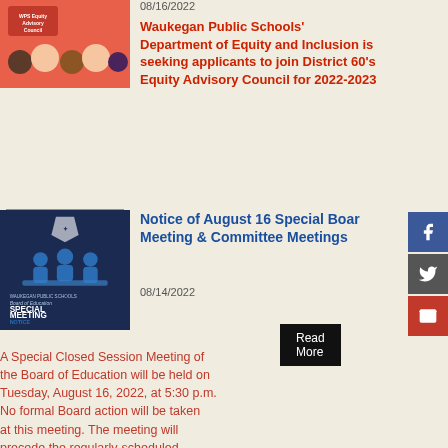[Figure (photo): WPS Equity Advisory Council graphic with diverse illustrated faces on a red/pink background]
08/16/2022
Waukegan Public Schools’ Department of Equity and Inclusion is seeking applicants to join District 60’s Equity Advisory Council for 2022-2023
Read More
[Figure (photo): Waukegan Public Schools Board of Education Special Meeting Notice graphic, dark blue background with silhouette figures]
Notice of August 16 Special Board Meeting & Committee Meetings
08/14/2022
A Special Closed Session Meeting of the Board of Education will be held on Tuesday, August 16, 2022, at 5:30 p.m. No formal Board action will be taken at this meeting. The meeting will precede the regularly-scheduled StudentAchievement and Operation Services Committee meetings, which will begin at 6 p.m.